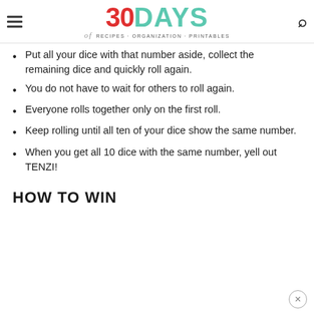30DAYS of RECIPES · ORGANIZATION · PRINTABLES
Put all your dice with that number aside, collect the remaining dice and quickly roll again.
You do not have to wait for others to roll again.
Everyone rolls together only on the first roll.
Keep rolling until all ten of your dice show the same number.
When you get all 10 dice with the same number, yell out TENZI!
HOW TO WIN